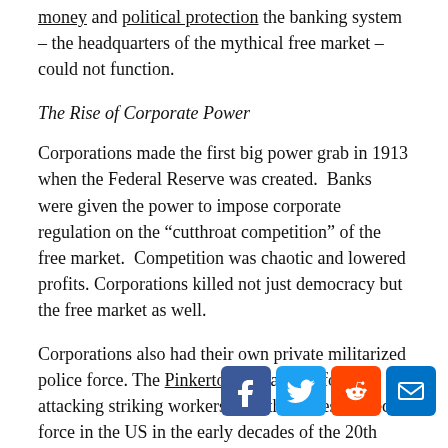money and political protection the banking system – the headquarters of the mythical free market – could not function.
The Rise of Corporate Power
Corporations made the first big power grab in 1913 when the Federal Reserve was created.  Banks were given the power to impose corporate regulation on the “cutthroat competition” of the free market.  Competition was chaotic and lowered profits. Corporations killed not just democracy but the free market as well.
Corporations also had their own private militarized police force. The Pinkertons, infamous for attacking striking workers, was the largest armed force in the US in the early decades of the 20th century: larger than the US Army at that time.
The mid-1970s were nonetheless a pivotal time as